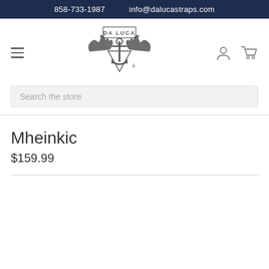858-733-1987    info@dalucastraps.com
[Figure (logo): Da Luca Straps logo with winged anchor emblem and text DA LUCA]
Mheinkic
$159.99